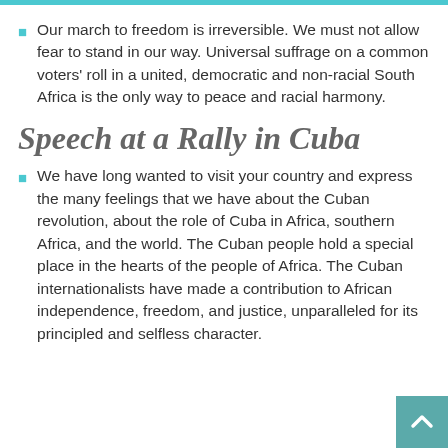Our march to freedom is irreversible. We must not allow fear to stand in our way. Universal suffrage on a common voters' roll in a united, democratic and non-racial South Africa is the only way to peace and racial harmony.
Speech at a Rally in Cuba
We have long wanted to visit your country and express the many feelings that we have about the Cuban revolution, about the role of Cuba in Africa, southern Africa, and the world. The Cuban people hold a special place in the hearts of the people of Africa. The Cuban internationalists have made a contribution to African independence, freedom, and justice, unparalleled for its principled and selfless character.